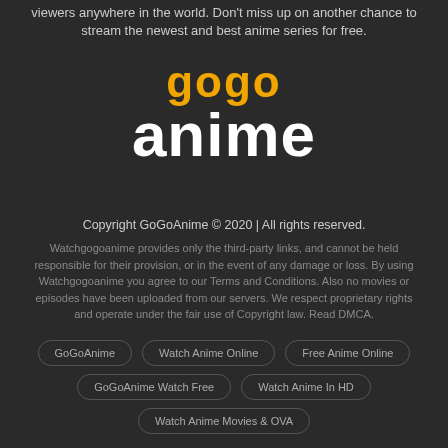viewers anywhere in the world. Don't miss up on another chance to stream the newest and best anime series for free.
[Figure (logo): GoGoAnime logo with 'gogo' in yellow/orange and 'anime' in white bold text]
Copyright GoGoAnime © 2020 | All rights reserved.
Watchgogoanime provides only the third-party links, and cannot be held responsible for their provision, or in the event of any damage or loss. By using Watchgogoanime you agree to our Terms and Conditions. Also no movies or episodes have been uploaded from our servers. We respect proprietary rights and operate under the fair use of Copyright law. Read DMCA.
GoGoAnime
Watch Anime Online
Free Anime Online
GoGoAnime Watch Free
Watch Anime In HD
Watch Anime Movies & OVA